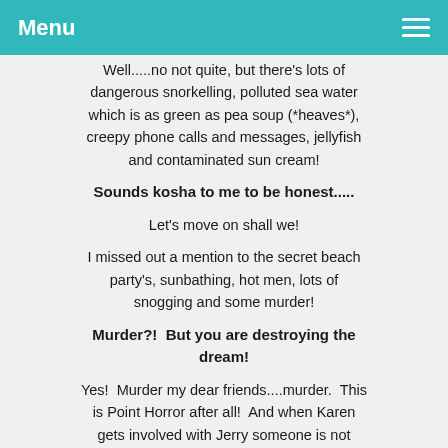Menu
Well.....no not quite, but there's lots of dangerous snorkelling, polluted sea water which is as green as pea soup (*heaves*), creepy phone calls and messages, jellyfish and contaminated sun cream!
Sounds kosha to me to be honest.....
Let's move on shall we!
I missed out a mention to the secret beach party's, sunbathing, hot men, lots of snogging and some murder!
Murder?!  But you are destroying the dream!
Yes!  Murder my dear friends....murder.  This is Point Horror after all!  And when Karen gets involved with Jerry someone is not happy about it...not happy at all!